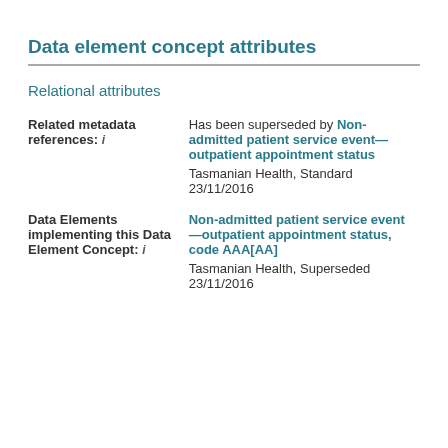Data element concept attributes
Relational attributes
| Attribute | Value |
| --- | --- |
| Related metadata references: i | Has been superseded by Non-admitted patient service event—outpatient appointment status
Tasmanian Health, Standard 23/11/2016 |
| Data Elements implementing this Data Element Concept: i | Non-admitted patient service event—outpatient appointment status, code AAA[AA]
Tasmanian Health, Superseded 23/11/2016 |